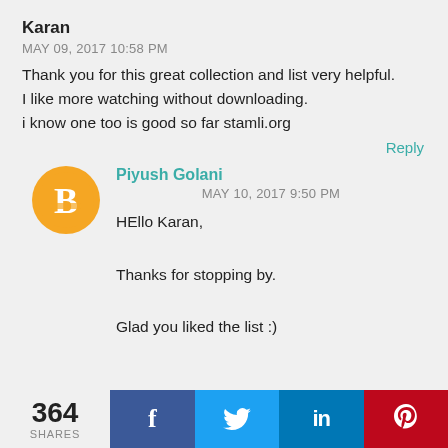Karan
MAY 09, 2017 10:58 PM
Thank you for this great collection and list very helpful.
I like more watching without downloading.
i know one too is good so far stamli.org
Reply
[Figure (illustration): Orange Blogger avatar circle with white B logo]
Piyush Golani
MAY 10, 2017 9:50 PM
HEllo Karan,

Thanks for stopping by.

Glad you liked the list :)
364 SHARES | Facebook | Twitter | LinkedIn | Pinterest